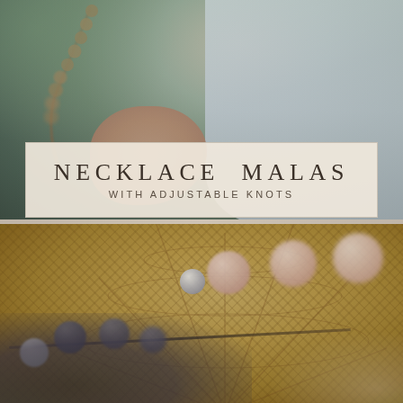[Figure (photo): Top half: blurred photo of a person in blue/white clothing holding mala prayer beads, with wooden beads strung together visible in the upper left.]
NECKLACE MALAS
WITH ADJUSTABLE KNOTS
[Figure (photo): Bottom half: blurred close-up photo of beaded malas (pink/rose quartz beads, dark grey beads, and silver beads) resting on a woven wicker/rattan basket.]